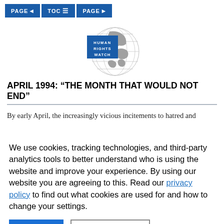PAGE < | TOC ≡ | PAGE >
[Figure (logo): Human Rights Watch logo: blue square with white text 'HUMAN RIGHTS WATCH' overlaid on a globe illustration]
APRIL 1994: “THE MONTH THAT WOULD NOT END”
By early April, the increasingly vicious incitements to hatred and
We use cookies, tracking technologies, and third-party analytics tools to better understand who is using the website and improve your experience. By using our website you are agreeing to this. Read our privacy policy to find out what cookies are used for and how to change your settings.
Accept | Other options